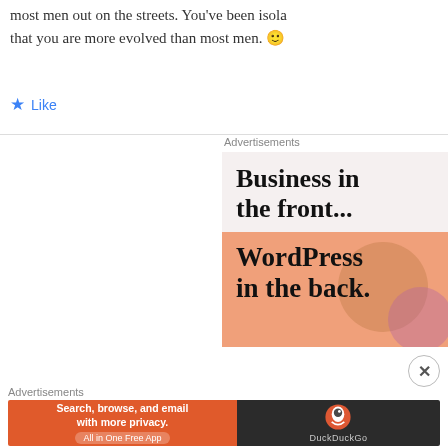most men out on the streets. You've been isolated that you are more evolved than most men. 🙂
★ Like
Advertisements
[Figure (other): WordPress.com advertisement: 'Business in the front... WordPress in the back.' on light pink and orange background.]
Advertisements
[Figure (other): DuckDuckGo advertisement: 'Search, browse, and email with more privacy. All in One Free App' with DuckDuckGo logo.]